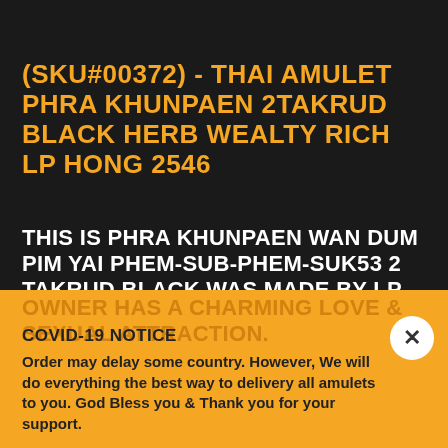(SKU#00372) - THAI AMULET PHRA KHUNPAEN 2TAKRUD BLACK HERB WEALTY RICH LP HONG 2546
THIS IS PHRA KHUNPAEN WAN DUM PIM YAI PHEM-SUB-PHEM-SUK53 2 TAKRUD BLACK WAS MADE BY LP HONG OF WAT PHET-BURI (LUANG PHOR) (FROM SURIN, THAILAND) IN B.E.2553 (2010) AND MADE OF HERB 108 ROOT OF TREE MIXED. POWER OF THIS AMULET WILL BRINGING OWNER HAS A CHARMING LOVE & SEXUAL ATTRACTION.
COVID-19 NOTICE
Order may delay some country. However, We will do everything the best way to delivery all amulets to you. God Bless you & Thank you for your support.